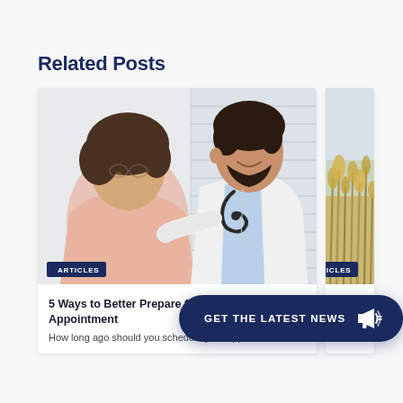Related Posts
[Figure (photo): A male doctor in a white coat with a stethoscope smiling at an older female patient, with an ARTICLES badge overlay in the bottom-left corner]
[Figure (photo): Partially visible second article card showing a nature/outdoor scene with golden grass, with an ARTICLES badge overlay]
5 Ways to Better Prepare for Your Dermatology Appointment
How long ago should you schedule your appointment?
GET THE LATEST NEWS